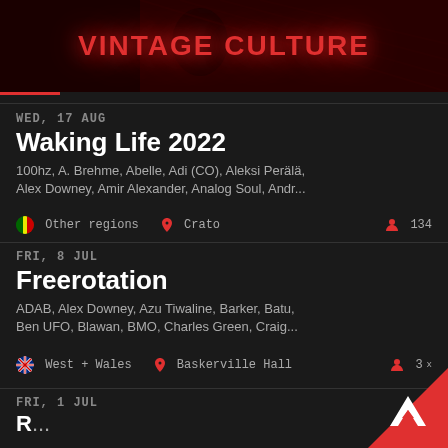[Figure (photo): Vintage Culture banner with red text on dark background with face silhouette]
WED, 17 AUG
Waking Life 2022
100hz, A. Brehme, Abelle, Adi (CO), Aleksi Perälä, Alex Downey, Amir Alexander, Analog Soul, Andr...
Other regions   Crato   134
FRI, 8 JUL
Freerotation
ADAB, Alex Downey, Azu Tiwaline, Barker, Batu, Ben UFO, Blawan, BMO, Charles Green, Craig...
West + Wales   Baskerville Hall   3x
FRI, 1 JUL